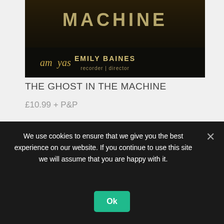[Figure (photo): Album cover for 'The Ghost in the Machine' by Amyas, featuring Emily Baines as recorder and director. Dark background with text 'MACHINE' at top and 'amyas EMILY BAINES recorder | director' below.]
THE GHOST IN THE MACHINE
£10.99 + P&P
Add to cart
“Papastefanou performs throughout with virtuosic command and sensitivity”
We use cookies to ensure that we give you the best experience on our website. If you continue to use this site we will assume that you are happy with it.
Ok